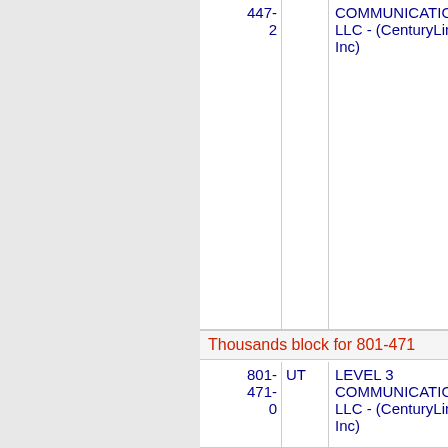| Number | State | Company | Code |
| --- | --- | --- | --- |
| 447-
2 |  | COMMUNICATIONS, LLC - (CenturyLink, Inc) |  |
| Thousands block for 801-471 |  |  |  |
| 801-
471-
0 | UT | LEVEL 3 COMMUNICATIONS, LLC - (CenturyLink, Inc) | 3231 |